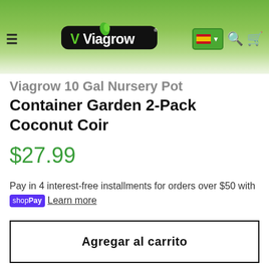Viagrow — navigation bar with hamburger menu, Viagrow logo, Spanish flag language selector, search icon, cart icon
Viagrow 10 Gal Nursery Pot Container Garden 2-Pack Coconut Coir
$27.99
Pay in 4 interest-free installments for orders over $50 with Shop Pay Learn more
Agregar al carrito